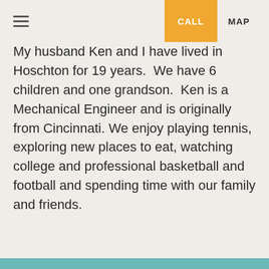≡  CALL  MAP
My husband Ken and I have lived in Hoschton for 19 years.  We have 6 children and one grandson.  Ken is a Mechanical Engineer and is originally from Cincinnati.  We enjoy playing tennis, exploring new places to eat, watching college and professional basketball and football and spending time with our family and friends.